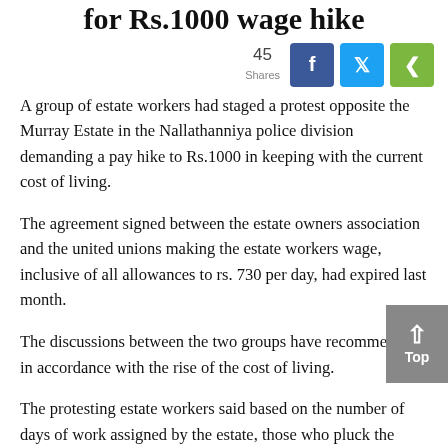for Rs.1000 wage hike
45 Shares
A group of estate workers had staged a protest opposite the Murray Estate in the Nallathanniya police division demanding a pay hike to Rs.1000 in keeping with the current cost of living.
The agreement signed between the estate owners association and the united unions making the estate workers wage, inclusive of all allowances to rs. 730 per day, had expired last month.
The discussions between the two groups have recommenced in accordance with the rise of the cost of living.
The protesting estate workers said based on the number of days of work assigned by the estate, those who pluck the stipulated weight of tea leaves per day, they are paid Rs. 730 but those who fail to reach that target is paid Rs. 530 per day.
Therefore, the protestors demanded that they be paid a wage